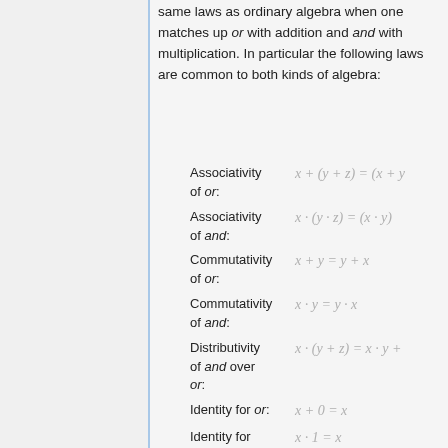same laws as ordinary algebra when one matches up or with addition and and with multiplication. In particular the following laws are common to both kinds of algebra:
Associativity of or: x + (y + z) = (x + y)
Associativity of and: x · (y · z) = (x · y)
Commutativity of or: x + y = y + x
Commutativity of and: x · y = y · x
Distributivity of and over or: x · (y + z) = x · y +
Identity for or: x + 0 = x
Identity for and: x · 1 = x